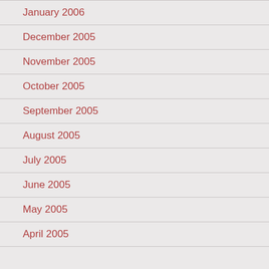January 2006
December 2005
November 2005
October 2005
September 2005
August 2005
July 2005
June 2005
May 2005
April 2005